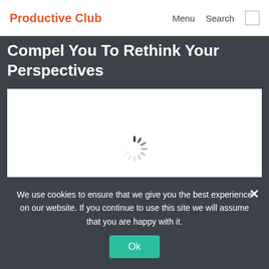Productive Club | Menu | Search
Compel You To Rethink Your Perspectives
[Figure (screenshot): White image placeholder area with a loading spinner (dashed circle) in the center, indicating an image is still loading.]
We use cookies to ensure that we give you the best experience on our website. If you continue to use this site we will assume that you are happy with it.